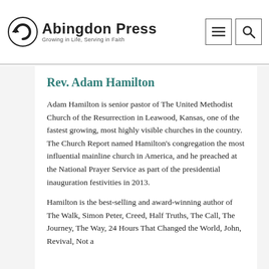Abingdon Press — Growing in Life, Serving in Faith
Rev. Adam Hamilton
Adam Hamilton is senior pastor of The United Methodist Church of the Resurrection in Leawood, Kansas, one of the fastest growing, most highly visible churches in the country. The Church Report named Hamilton's congregation the most influential mainline church in America, and he preached at the National Prayer Service as part of the presidential inauguration festivities in 2013.
Hamilton is the best-selling and award-winning author of The Walk, Simon Peter, Creed, Half Truths, The Call, The Journey, The Way, 24 Hours That Changed the World, John, Revival, Not a